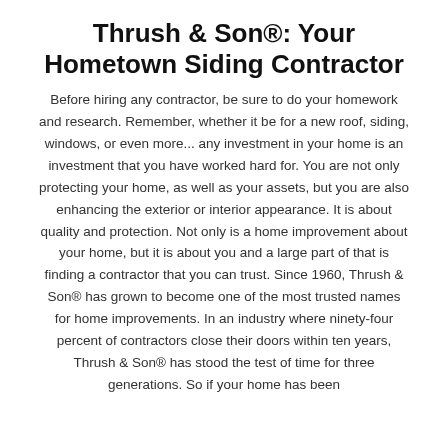Thrush & Son®: Your Hometown Siding Contractor
Before hiring any contractor, be sure to do your homework and research. Remember, whether it be for a new roof, siding, windows, or even more... any investment in your home is an investment that you have worked hard for. You are not only protecting your home, as well as your assets, but you are also enhancing the exterior or interior appearance. It is about quality and protection. Not only is a home improvement about your home, but it is about you and a large part of that is finding a contractor that you can trust. Since 1960, Thrush & Son® has grown to become one of the most trusted names for home improvements. In an industry where ninety-four percent of contractors close their doors within ten years, Thrush & Son® has stood the test of time for three generations. So if your home has been